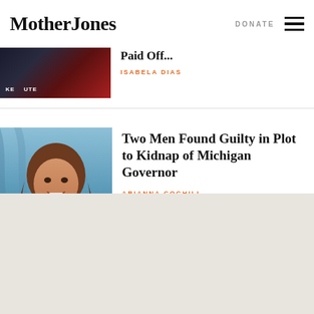Mother Jones | DONATE
[Figure (photo): Partially visible article thumbnail showing a dark image with red tones and text 'KE' visible]
Paid Off...
ISABELA DIAS
[Figure (photo): Photo of a woman with long brown hair smiling, wearing a dark blazer and white collar, against a blue curtain background — Michigan Governor Gretchen Whitmer]
Two Men Found Guilty in Plot to Kidnap of Michigan Governor
ARIANNA COGHILL